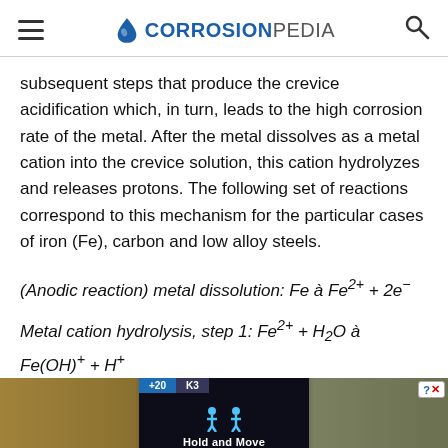CORROSIONPEDIA
subsequent steps that produce the crevice acidification which, in turn, leads to the high corrosion rate of the metal. After the metal dissolves as a metal cation into the crevice solution, this cation hydrolyzes and releases protons. The following set of reactions correspond to this mechanism for the particular cases of iron (Fe), carbon and low alloy steels.
[Figure (photo): Advertisement banner showing 'Hold and Move' with forest background and app interface overlay]